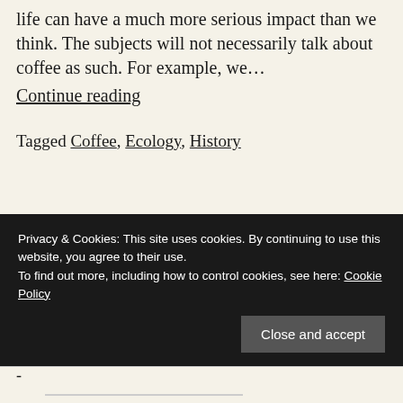life can have a much more serious impact than we think. The subjects will not necessarily talk about coffee as such. For example, we… Continue reading
Tagged Coffee, Ecology, History
Privacy & Cookies: This site uses cookies. By continuing to use this website, you agree to their use. To find out more, including how to control cookies, see here: Cookie Policy